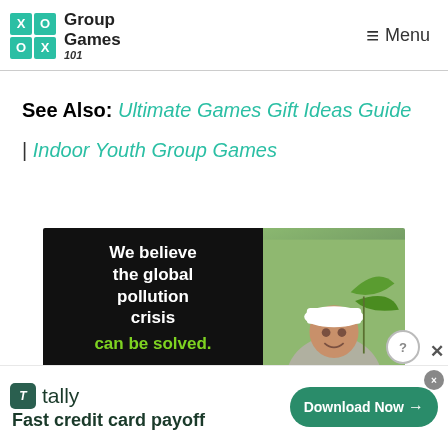Group Games 101 | Menu
See Also: Ultimate Games Gift Ideas Guide | Indoor Youth Group Games
[Figure (photo): Advertisement showing text 'We believe the global pollution crisis can be solved.' on a dark background with a photo of a person in a hard hat planting a tree]
[Figure (infographic): Bottom banner ad for Tally app: 'Fast credit card payoff' with a Download Now button]